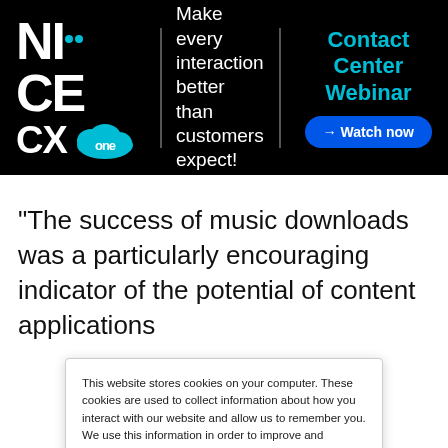[Figure (screenshot): NICE CXone advertisement banner. Black background with NICE CXone logo on left, tagline 'Make every interaction better than customers expect!' in center, and 'Contact Center Webinar → Watch now' button on right.]
“The success of music downloads was a particularly encouraging indicator of the potential of content applications
This website stores cookies on your computer. These cookies are used to collect information about how you interact with our website and allow us to remember you. We use this information in order to improve and customize your browsing experience and for analytics and metrics about our visitors both on this website and other media. To find out more about the cookies we use, see our Privacy Policy. California residents have the right to direct us not to sell their personal information to third parties by filing an Opt-Out Request: Do Not Sell My Personal Info.